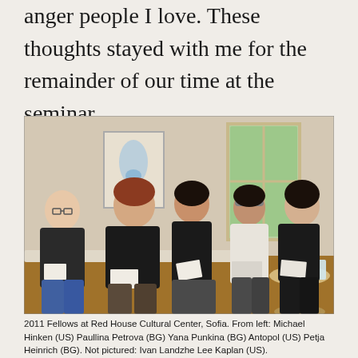anger people I love. These thoughts stayed with me for the remainder of our time at the seminar.
[Figure (photo): Group photo of 2011 Fellows seated in a row at Red House Cultural Center, Sofia. Five people are visible seated on chairs/sofa in a room with a window and artwork on the wall. A small round table with glasses and bottles is visible on the right.]
2011 Fellows at Red House Cultural Center, Sofia. From left: Michael Hinken (US) Paullina Petrova (BG) Yana Punkina (BG) Antopol (US) Petja Heinrich (BG). Not pictured: Ivan Landzhe Lee Kaplan (US).